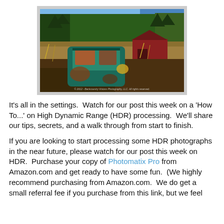[Figure (photo): HDR photograph of an abandoned rusted truck cab in a field with trees and a red barn in the background, highly saturated colors.]
It's all in the settings.  Watch for our post this week on a 'How To...' on High Dynamic Range (HDR) processing.  We'll share our tips, secrets, and a walk through from start to finish.
If you are looking to start processing some HDR photographs in the near future, please watch for our post this week on HDR.  Purchase your copy of Photomatix Pro from Amazon.com and get ready to have some fun.  (We highly recommend purchasing from Amazon.com.  We do get a small referral fee if you purchase from this link, but we feel